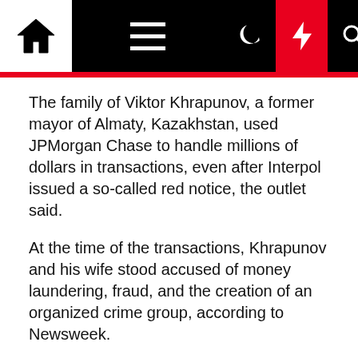Navigation bar with home, menu, dark mode, lightning, and search icons
The family of Viktor Khrapunov, a former mayor of Almaty, Kazakhstan, used JPMorgan Chase to handle millions of dollars in transactions, even after Interpol issued a so-called red notice, the outlet said.
At the time of the transactions, Khrapunov and his wife stood accused of money laundering, fraud, and the creation of an organized crime group, according to Newsweek.
They were convicted in absentia, having fled to Switzerland. They described the charges as politically motivated, BuzzFeed News reported.
Arkady Rotenberg, a Putin associate, may have used